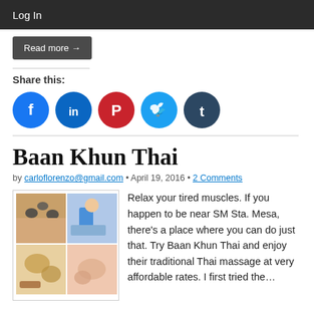Log In
Read more →
Share this:
[Figure (other): Social sharing icons: Facebook (blue circle), LinkedIn (blue circle), Pinterest (red circle), Twitter (light blue circle), Tumblr (dark navy circle)]
Baan Khun Thai
by carloflorenzo@gmail.com • April 19, 2016 • 2 Comments
[Figure (photo): Collage of four massage/spa photos: hot stone massage on back, therapist performing massage, herbal compress massage, and a close-up of massage hands]
Relax your tired muscles. If you happen to be near SM Sta. Mesa, there's a place where you can do just that. Try Baan Khun Thai and enjoy their traditional Thai massage at very affordable rates. I first tried the…